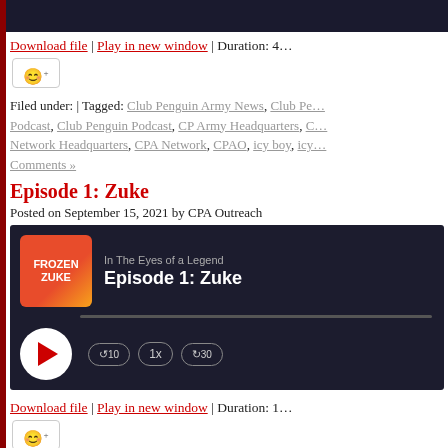[Figure (screenshot): Podcast audio player widget - top portion cropped, dark background]
Download file | Play in new window | Duration: ...
Filed under: | Tagged: Club Penguin Army News, Club Penguin Army Podcast, Club Penguin Podcast, CP Army Headquarters, CP Army Network Headquarters, CPA Network, CPAO, icy boy, icy... Comments »
Episode 1: Zuke
Posted on September 15, 2021 by CPA Outreach
[Figure (screenshot): Podcast audio player for 'In The Eyes of a Legend - Episode 1: Zuke' with dark background, album art showing FROZEN ZUKE, play button, speed controls showing 1x, skip buttons -10 and +30]
Download file | Play in new window | Duration: ...
Filed under: | Tagged: Club Penguin Army News, Club Penguin Army Podcast, Club Penguin Podcast, cp armies, CP Army Headquarters, CP Army Network Headquarters, CP Army Outreach, cpa, CP...
Next Page »